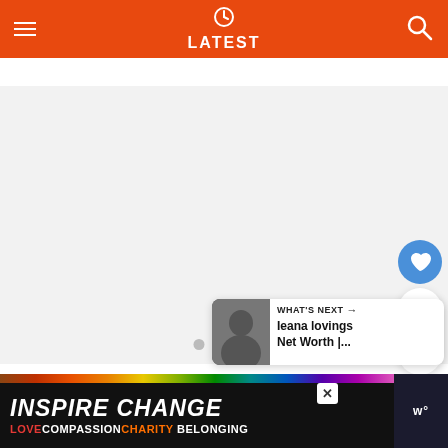LATEST
[Figure (screenshot): Main content area with light gray background and three pagination dots at the bottom center]
[Figure (infographic): Right-side interaction panel with blue heart button, number 1, and share button]
[Figure (infographic): What's Next card with thumbnail image showing a woman and text: WHAT'S NEXT -> Ieana lovings Net Worth |...]
[Figure (infographic): Bottom advertisement banner: INSPIRE CHANGE - LOVE COMPASSION CHARITY BELONGING with rainbow stripe and close button]